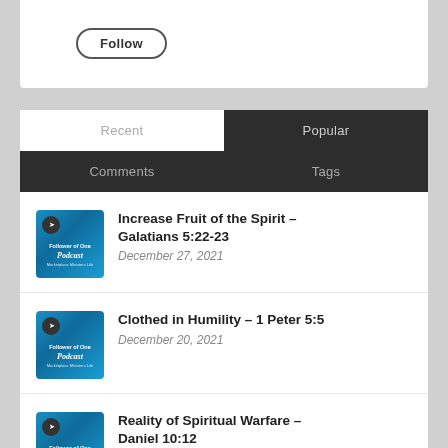[Figure (screenshot): Follow button with rounded rectangle border]
Recent | Popular | Comments | Tags
[Figure (screenshot): Follower of One Podcast thumbnail]
Increase Fruit of the Spirit – Galatians 5:22-23
December 27, 2021
[Figure (screenshot): Follower of One Podcast thumbnail]
Clothed in Humility – 1 Peter 5:5
December 20, 2021
[Figure (screenshot): Follower of One Podcast thumbnail]
Reality of Spiritual Warfare – Daniel 10:12
December 13, 2021